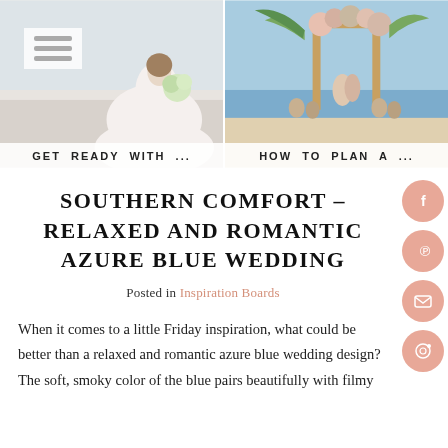[Figure (photo): Two wedding photos side by side at top: left shows bride in white dress from behind with bouquet, right shows beach wedding ceremony with floral arch]
GET READY WITH ...
HOW TO PLAN A ...
SOUTHERN COMFORT – RELAXED AND ROMANTIC AZURE BLUE WEDDING
Posted in Inspiration Boards
When it comes to a little Friday inspiration, what could be better than a relaxed and romantic azure blue wedding design? The soft, smoky color of the blue pairs beautifully with filmy